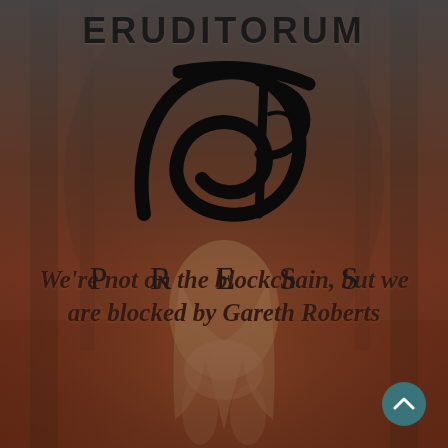ERUDITORUM
[Figure (logo): Eruditorum Press stylized 'EP' calligraphic logo in black, with a sweeping pen-stroke e and P design]
PRESS
We're not on the blockchain, but we are blocked by Gareth Roberts